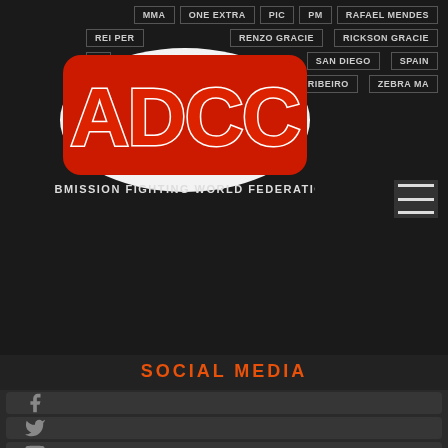MMA | ONE EXTRA | PIC | PM | RAFAEL MENDES | REI PER | RENZO GRACIE | RICKSON GRACIE | SAN DIEGO | SPAIN | RIBEIRO | ZEBRA MA
[Figure (logo): ADCC Submission Fighting World Federation logo - red stylized letters with white outline on dark background]
SOCIAL MEDIA
Facebook
Twitter
YouTube
Instagram